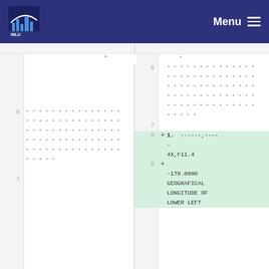[Figure (screenshot): Navigation bar with city/government logo on left and Menu button with hamburger icon on right, dark navy blue background]
Code diff view showing two panels side by side. Left panel shows line numbers 6 and 7, with asterisk patterns (redacted code lines) at line 6. Right panel shows line numbers 6, 7, 8, 9. Lines 6 has asterisk patterns similar to left. Lines 8 and 9 are highlighted in green as added lines. Line 8 shows '+ 1.  ------,----' and '4X,F11.4'. Line 9 shows '+' with '-179.0000', 'GEOGRAFICAL', 'LONGITUDE OF', 'LOWER LEFT'